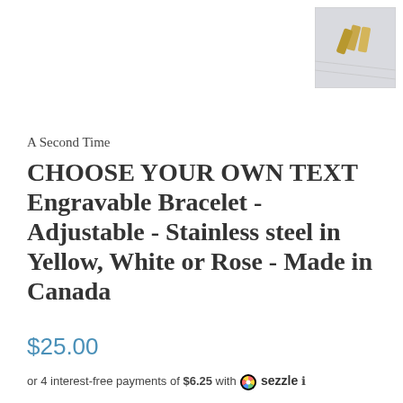[Figure (photo): Small thumbnail photo of a gold-colored bracelet/jewelry piece on a white fabric background]
A Second Time
CHOOSE YOUR OWN TEXT Engravable Bracelet - Adjustable - Stainless steel in Yellow, White or Rose - Made in Canada
$25.00
or 4 interest-free payments of $6.25 with  sezzle ℹ